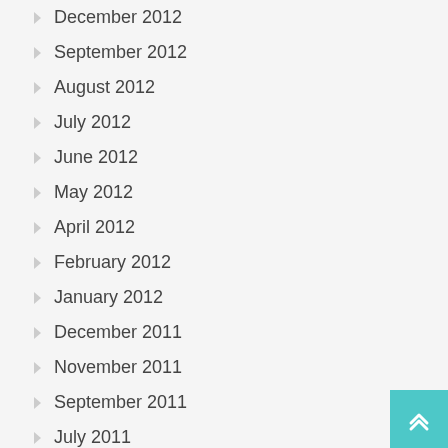December 2012
September 2012
August 2012
July 2012
June 2012
May 2012
April 2012
February 2012
January 2012
December 2011
November 2011
September 2011
July 2011